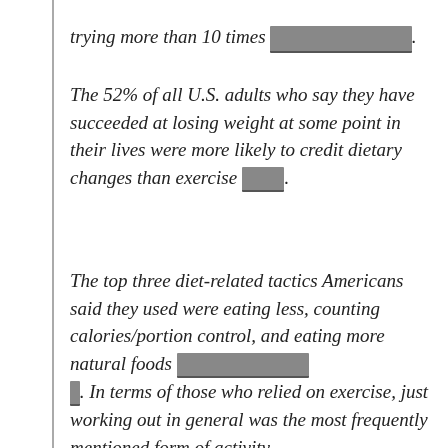trying more than 10 times [redacted].
The 52% of all U.S. adults who say they have succeeded at losing weight at some point in their lives were more likely to credit dietary changes than exercise [redacted].
The top three diet-related tactics Americans said they used were eating less, counting calories/portion control, and eating more natural foods [redacted]. In terms of those who relied on exercise, just working out in general was the most frequently mentioned form of activity.
Working out/exercising is the dominant